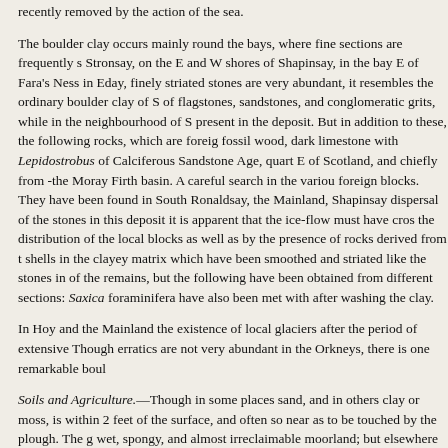recently removed by the action of the sea.
The boulder clay occurs mainly round the bays, where fine sections are frequently s Stronsay, on the E and W shores of Shapinsay, in the bay E of Fara's Ness in Eday, finely striated stones are very abundant, it resembles the ordinary boulder clay of S of flagstones, sandstones, and conglomeratic grits, while in the neighbourhood of S present in the deposit. But in addition to these, the following rocks, which are foreig fossil wood, dark limestone with Lepidostrobus of Calciferous Sandstone Age, quart E of Scotland, and chiefly from -the Moray Firth basin. A careful search in the variou foreign blocks. They have been found in South Ronaldsay, the Mainland, Shapinsay dispersal of the stones in this deposit it is apparent that the ice-flow must have cros the distribution of the local blocks as well as by the presence of rocks derived from t shells in the clayey matrix which have been smoothed and striated like the stones in of the remains, but the following have been obtained from different sections: Saxica foraminifera have also been met with after washing the clay.
In Hoy and the Mainland the existence of local glaciers after the period of extensive Though erratics are not very abundant in the Orkneys, there is one remarkable boul
Soils and Agriculture.—Though in some places sand, and in others clay or moss, is within 2 feet of the surface, and often so near as to be touched by the plough. The g wet, spongy, and almost irreclaimable moorland; but elsewhere the moss is benty, c Loams of various qualities, and sometimes, though never to any great extent, appro soil, which in places, particularly in Westray, Stronsay, and Sanday, passes into bed proportion is sandy-no disadvantage in such a damp climate-or good loam, while th